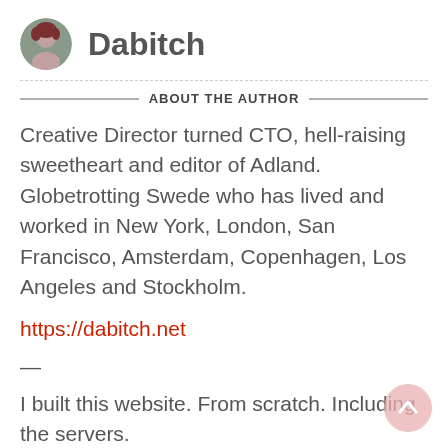Dabitch
ABOUT THE AUTHOR
Creative Director turned CTO, hell-raising sweetheart and editor of Adland. Globetrotting Swede who has lived and worked in New York, London, San Francisco, Amsterdam, Copenhagen, Los Angeles and Stockholm.
https://dabitch.net
—
I built this website. From scratch. Including the servers.